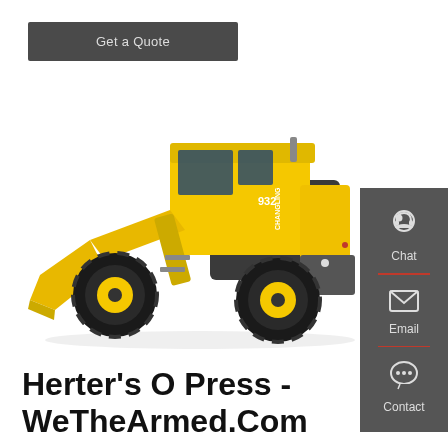Get a Quote
[Figure (photo): Yellow Changling 932 wheel loader / front-end loader construction machine on white background, side/front angle view showing bucket, cab, and large black tires with yellow rims]
[Figure (infographic): Dark grey sidebar with Chat (headset icon), Email (envelope icon), and Contact (speech bubble with dots icon) buttons separated by red dividers]
Herter's O Press - WeTheArmed.Com